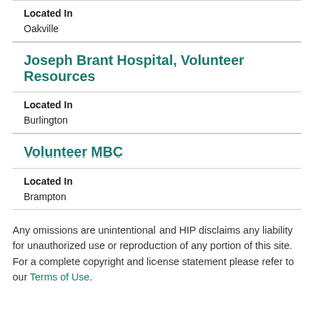Located In
Oakville
Joseph Brant Hospital, Volunteer Resources
Located In
Burlington
Volunteer MBC
Located In
Brampton
Any omissions are unintentional and HIP disclaims any liability for unauthorized use or reproduction of any portion of this site. For a complete copyright and license statement please refer to our Terms of Use.